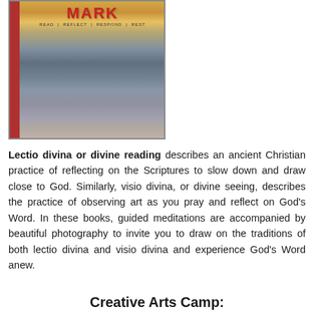[Figure (photo): Book cover for 'Mark' with subtitle 'Read | Reflect | Respond | Rest', featuring a scenic photo of water and sky at sunset/sunrise with a red spine on the left side.]
Lectio divina or divine reading describes an ancient Christian practice of reflecting on the Scriptures to slow down and draw close to God. Similarly, visio divina, or divine seeing, describes the practice of observing art as you pray and reflect on God's Word. In these books, guided meditations are accompanied by beautiful photography to invite you to draw on the traditions of both lectio divina and visio divina and experience God's Word anew.
Creative Arts Camp: